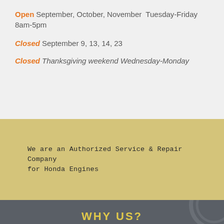Open September, October, November  Tuesday-Friday 8am-5pm
Closed September 9, 13, 14, 23
Closed Thanksgiving weekend Wednesday-Monday
We are an Authorized Service & Repair Company for Honda Engines
WHY US?